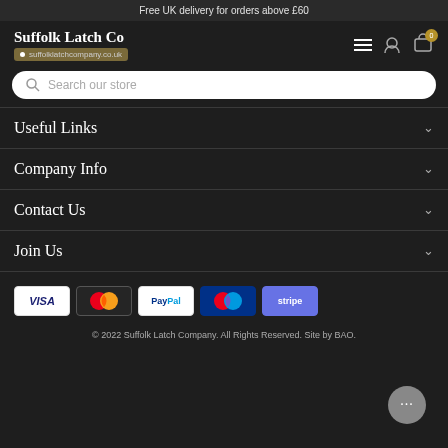Free UK delivery for orders above £60
[Figure (logo): Suffolk Latch Co logo with text and brown banner]
Search our store
Useful Links
Company Info
Contact Us
Join Us
[Figure (infographic): Payment method icons: Visa, Mastercard, PayPal, Maestro, Stripe]
© 2022 Suffolk Latch Company. All Rights Reserved. Site by BAO.